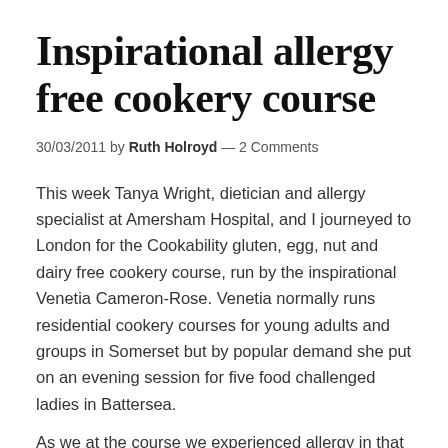Inspirational allergy free cookery course
30/03/2011 by Ruth Holroyd — 2 Comments
This week Tanya Wright, dietician and allergy specialist at Amersham Hospital, and I journeyed to London for the Cookability gluten, egg, nut and dairy free cookery course, run by the inspirational Venetia Cameron-Rose. Venetia normally runs residential cookery courses for young adults and groups in Somerset but by popular demand she put on an evening session for five food challenged ladies in Battersea.
As we at the course we experienced allergy in that...